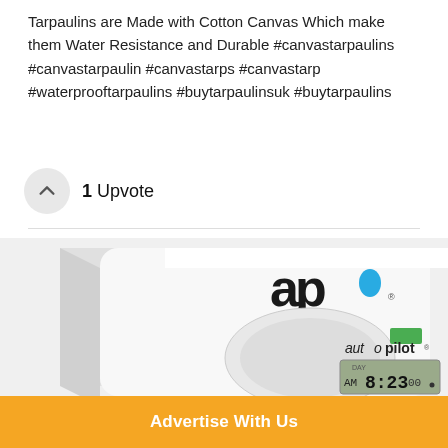Tarpaulins are Made with Cotton Canvas Which make them Water Resistance and Durable #canvastarpaulins #canvastarpaulin #canvastarps #canvastarp #waterprooftarpaulins #buytarpaulinsuk #buytarpaulins
1 Upvote
[Figure (photo): White Autopilot digital timer device with LCD display showing AM 8:23 and 'autopilot' branding with green logo, viewed from above at an angle]
Advertise With Us